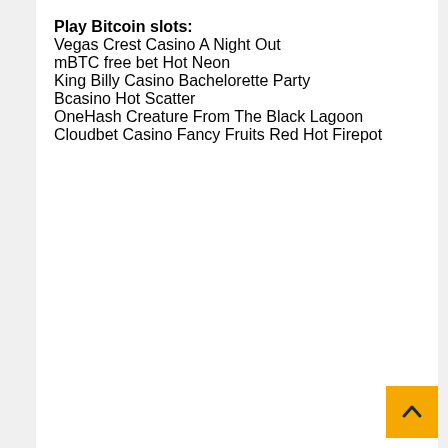Play Bitcoin slots:
Vegas Crest Casino A Night Out
mBTC free bet Hot Neon
King Billy Casino Bachelorette Party
Bcasino Hot Scatter
OneHash Creature From The Black Lagoon
Cloudbet Casino Fancy Fruits Red Hot Firepot